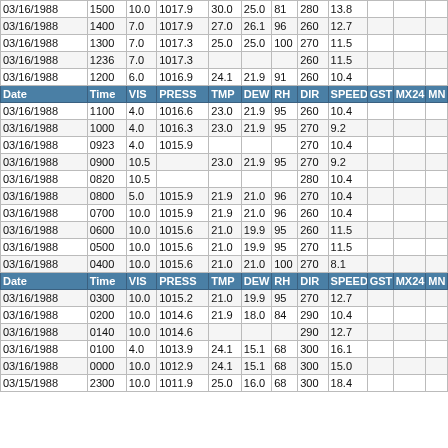| Date | Time | VIS | PRESS | TMP | DEW | RH | DIR | SPEED | GST | MX24 | MN |
| --- | --- | --- | --- | --- | --- | --- | --- | --- | --- | --- | --- |
| 03/16/1988 | 1500 | 10.0 | 1017.9 | 30.0 | 25.0 | 81 | 280 | 13.8 |  |  |  |
| 03/16/1988 | 1400 | 7.0 | 1017.9 | 27.0 | 26.1 | 96 | 260 | 12.7 |  |  |  |
| 03/16/1988 | 1300 | 7.0 | 1017.3 | 25.0 | 25.0 | 100 | 270 | 11.5 |  |  |  |
| 03/16/1988 | 1236 | 7.0 | 1017.3 |  |  |  | 260 | 11.5 |  |  |  |
| 03/16/1988 | 1200 | 6.0 | 1016.9 | 24.1 | 21.9 | 91 | 260 | 10.4 |  |  |  |
| HEADER |  |  |  |  |  |  |  |  |  |  |  |
| 03/16/1988 | 1100 | 4.0 | 1016.6 | 23.0 | 21.9 | 95 | 260 | 10.4 |  |  |  |
| 03/16/1988 | 1000 | 4.0 | 1016.3 | 23.0 | 21.9 | 95 | 270 | 9.2 |  |  |  |
| 03/16/1988 | 0923 | 4.0 | 1015.9 |  |  |  | 270 | 10.4 |  |  |  |
| 03/16/1988 | 0900 | 10.5 |  | 23.0 | 21.9 | 95 | 270 | 9.2 |  |  |  |
| 03/16/1988 | 0820 | 10.5 |  |  |  |  | 280 | 10.4 |  |  |  |
| 03/16/1988 | 0800 | 5.0 | 1015.9 | 21.9 | 21.0 | 96 | 270 | 10.4 |  |  |  |
| 03/16/1988 | 0700 | 10.0 | 1015.9 | 21.9 | 21.0 | 96 | 260 | 10.4 |  |  |  |
| 03/16/1988 | 0600 | 10.0 | 1015.6 | 21.0 | 19.9 | 95 | 260 | 11.5 |  |  |  |
| 03/16/1988 | 0500 | 10.0 | 1015.6 | 21.0 | 19.9 | 95 | 270 | 11.5 |  |  |  |
| 03/16/1988 | 0400 | 10.0 | 1015.6 | 21.0 | 21.0 | 100 | 270 | 8.1 |  |  |  |
| HEADER |  |  |  |  |  |  |  |  |  |  |  |
| 03/16/1988 | 0300 | 10.0 | 1015.2 | 21.0 | 19.9 | 95 | 270 | 12.7 |  |  |  |
| 03/16/1988 | 0200 | 10.0 | 1014.6 | 21.9 | 18.0 | 84 | 290 | 10.4 |  |  |  |
| 03/16/1988 | 0140 | 10.0 | 1014.6 |  |  |  | 290 | 12.7 |  |  |  |
| 03/16/1988 | 0100 | 4.0 | 1013.9 | 24.1 | 15.1 | 68 | 300 | 16.1 |  |  |  |
| 03/16/1988 | 0000 | 10.0 | 1012.9 | 24.1 | 15.1 | 68 | 300 | 15.0 |  |  |  |
| 03/15/1988 | 2300 | 10.0 | 1011.9 | 25.0 | 16.0 | 68 | 300 | 18.4 |  |  |  |